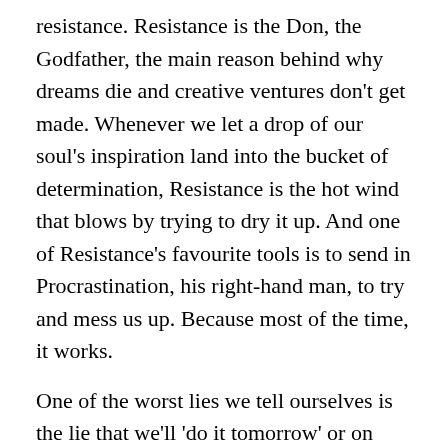resistance. Resistance is the Don, the Godfather, the main reason behind why dreams die and creative ventures don't get made. Whenever we let a drop of our soul's inspiration land into the bucket of determination, Resistance is the hot wind that blows by trying to dry it up. And one of Resistance's favourite tools is to send in Procrastination, his right-hand man, to try and mess us up. Because most of the time, it works.
One of the worst lies we tell ourselves is the lie that we'll 'do it tomorrow' or on Monday; or maybe we find ourselves waiting for this thing to happen or that thing and once it does we are definitely going to start then. These lies are